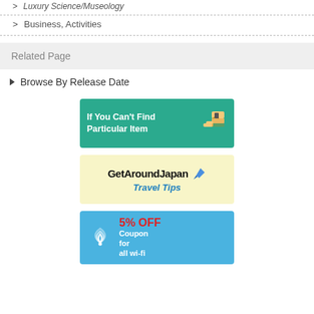Luxury Science/Museology
Business, Activities
Related Page
Browse By Release Date
[Figure (illustration): Teal banner: If You Can't Find Particular Item with pointing hand icon]
[Figure (illustration): Yellow banner: GetAroundJapan Travel Tips with map pin icon]
[Figure (illustration): Blue banner: 5% OFF Coupon for all wi-fi with wifi icon and device]